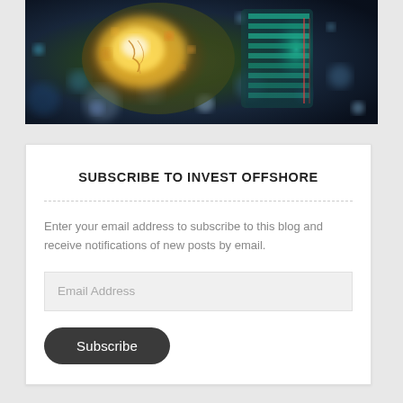[Figure (photo): Close-up photo of a glowing incandescent light bulb with bokeh effect on a dark blue background]
SUBSCRIBE TO INVEST OFFSHORE
Enter your email address to subscribe to this blog and receive notifications of new posts by email.